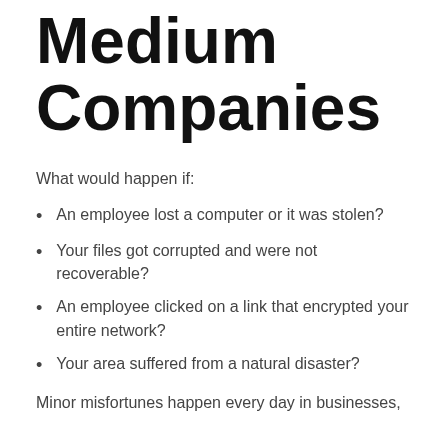Medium Companies
What would happen if:
An employee lost a computer or it was stolen?
Your files got corrupted and were not recoverable?
An employee clicked on a link that encrypted your entire network?
Your area suffered from a natural disaster?
Minor misfortunes happen every day in businesses,